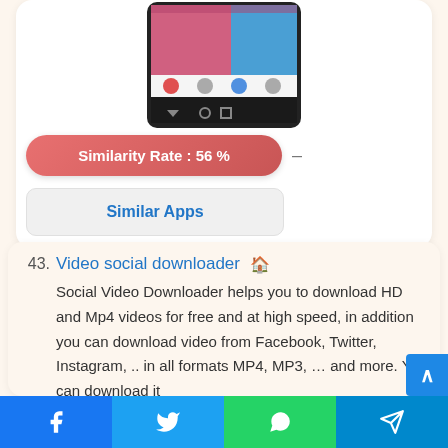[Figure (screenshot): Mobile app screenshot showing a social media video app interface with pink and dark UI elements]
Similarity Rate : 56 %
–
Similar Apps
43. Video social downloader
Social Video Downloader helps you to download HD and Mp4 videos for free and at high speed, in addition you can download video from Facebook, Twitter, Instagram, .. in all formats MP4, MP3, … and more. You can download it
Facebook | Twitter | WhatsApp | Telegram